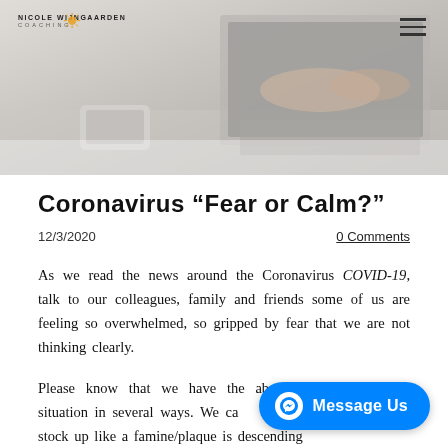[Figure (photo): Header photo of a person working on a laptop with a smartphone nearby, in grayscale/muted tones. Nicole Wijngaarden Coaching logo in top left, hamburger menu icon in top right.]
Coronavirus “Fear or Calm?”
12/3/2020
0 Comments
As we read the news around the Coronavirus COVID-19, talk to our colleagues, family and friends some of us are feeling so overwhelmed, so gripped by fear that we are not thinking clearly.
Please know that we have the ability to approach this situation in several ways. We can continue to stock up like a famine/plaque is descending